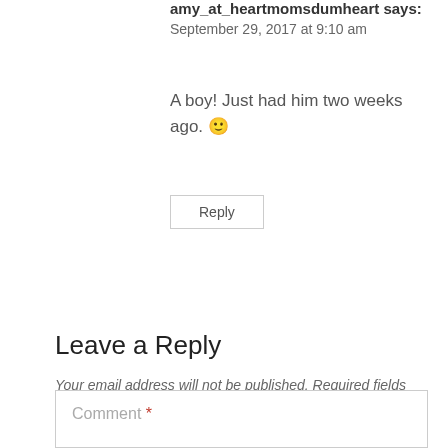amy_at_heartmomsdumheart says:
September 29, 2017 at 9:10 am
A boy! Just had him two weeks ago. 🙂
Reply
Leave a Reply
Your email address will not be published. Required fields are marked *
Comment *